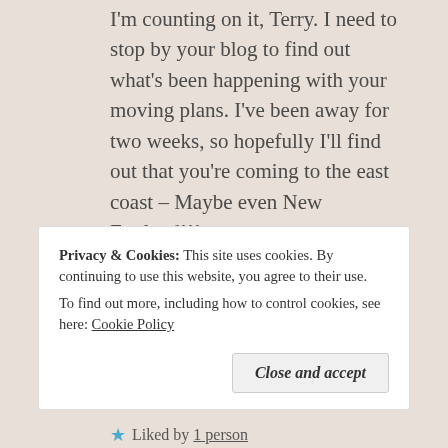I'm counting on it, Terry. I need to stop by your blog to find out what's been happening with your moving plans. I've been away for two weeks, so hopefully I'll find out that you're coming to the east coast – Maybe even New England!!!
★ Liked by 1 person
Reply
Privacy & Cookies: This site uses cookies. By continuing to use this website, you agree to their use.
To find out more, including how to control cookies, see here: Cookie Policy
Close and accept
★ Liked by 1 person